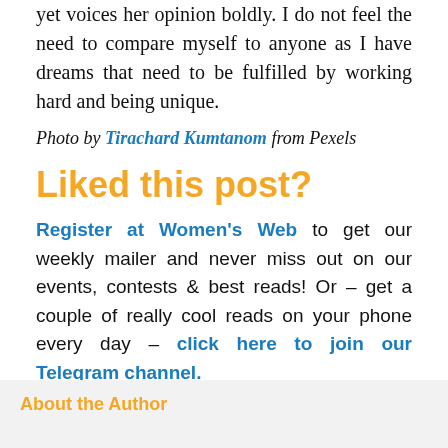yet voices her opinion boldly. I do not feel the need to compare myself to anyone as I have dreams that need to be fulfilled by working hard and being unique.
Photo by Tirachard Kumtanom from Pexels
Liked this post?
Register at Women's Web to get our weekly mailer and never miss out on our events, contests & best reads! Or – get a couple of really cool reads on your phone every day – click here to join our Telegram channel.
Comments
About the Author